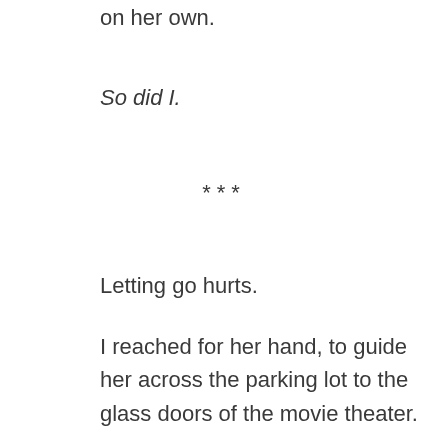on her own.
So did I.
***
Letting go hurts.
I reached for her hand, to guide her across the parking lot to the glass doors of the movie theater.